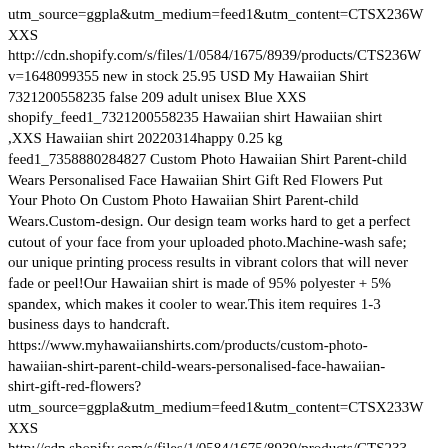utm_source=ggpla&utm_medium=feed1&utm_content=CTSX236W XXS http://cdn.shopify.com/s/files/1/0584/1675/8939/products/CTS236W v=1648099355 new in stock 25.95 USD My Hawaiian Shirt 7321200558235 false 209 adult unisex Blue XXS shopify_feed1_7321200558235 Hawaiian shirt Hawaiian shirt ,XXS Hawaiian shirt 20220314happy 0.25 kg feed1_7358880284827 Custom Photo Hawaiian Shirt Parent-child Wears Personalised Face Hawaiian Shirt Gift Red Flowers Put Your Photo On Custom Photo Hawaiian Shirt Parent-child Wears.Custom-design. Our design team works hard to get a perfect cutout of your face from your uploaded photo.Machine-wash safe; our unique printing process results in vibrant colors that will never fade or peel!Our Hawaiian shirt is made of 95% polyester + 5% spandex, which makes it cooler to wear.This item requires 1-3 business days to handcraft. https://www.myhawaiianshirts.com/products/custom-photo-hawaiian-shirt-parent-child-wears-personalised-face-hawaiian-shirt-gift-red-flowers?utm_source=ggpla&utm_medium=feed1&utm_content=CTSX233W XXS http://cdn.shopify.com/s/files/1/0584/1675/8939/products/CTS233-2_87c73ab7-758c-4e05-900b-b62a5709c0c5.jpg?v=1652172120 new in stock 25.95 USD My Hawaiian Shirt 7358880284827 false 209 adult unisex Blue XXS shopify_feed1_7358880284827 Hawaiian shirt Hawaiian shirt ,S 20220321happy 0.25 kg